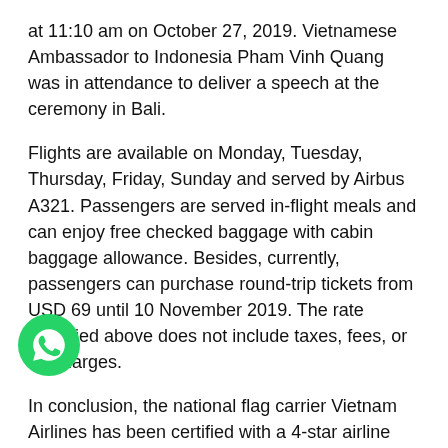at 11:10 am on October 27, 2019. Vietnamese Ambassador to Indonesia Pham Vinh Quang was in attendance to deliver a speech at the ceremony in Bali.
Flights are available on Monday, Tuesday, Thursday, Friday, Sunday and served by Airbus A321. Passengers are served in-flight meals and can enjoy free checked baggage with cabin baggage allowance. Besides, currently, passengers can purchase round-trip tickets from USD 69 until 10 November 2019. The rate specified above does not include taxes, fees, or surcharges.
In conclusion, the national flag carrier Vietnam Airlines has been certified with a 4-star airline rating by prestigious international air transport rating organization Skytrax for the fourth consecutive year. ...his outcome, Vietnam Airlines continued affirming its products and services on par with those of leading international airlines...
[Figure (logo): WhatsApp icon — green circle with white phone/chat handset logo]